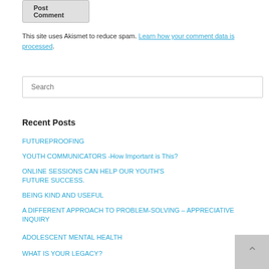Post Comment
This site uses Akismet to reduce spam. Learn how your comment data is processed.
Search
Recent Posts
FUTUREPROOFING
YOUTH COMMUNICATORS -How Important is This?
ONLINE SESSIONS CAN HELP OUR YOUTH'S FUTURE SUCCESS.
BEING KIND AND USEFUL
A DIFFERENT APPROACH TO PROBLEM-SOLVING – APPRECIATIVE INQUIRY
ADOLESCENT MENTAL HEALTH
WHAT IS YOUR LEGACY?